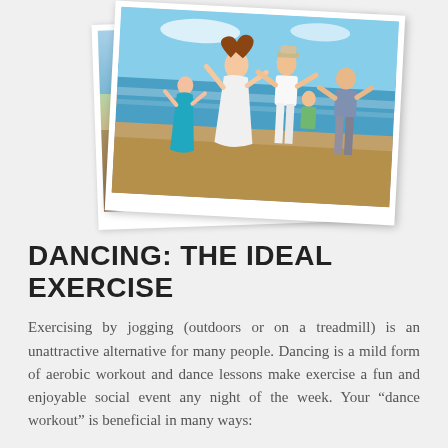[Figure (photo): A group of people dancing joyfully on a beach, with ocean waves and a clear sky in the background. The photo is styled to look like a physical polaroid-style print, slightly rotated.]
DANCING: THE IDEAL EXERCISE
Exercising by jogging (outdoors or on a treadmill) is an unattractive alternative for many people. Dancing is a mild form of aerobic workout and dance lessons make exercise a fun and enjoyable social event any night of the week. Your “dance workout” is beneficial in many ways: